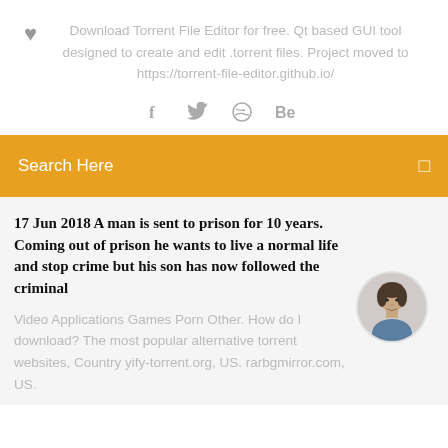Download Torrent File Editor for free. Qt based GUI tool designed to create and edit .torrent files. Project moved to https://torrent-file-editor.github.io/
[Figure (illustration): Social media icons: Facebook (f), Twitter (bird), Dribbble (circle with lines), Behance (Be)]
Search Here
17 Jun 2018 A man is sent to prison for 10 years. Coming out of prison he wants to live a normal life and stop crime but his son has now followed the criminal
[Figure (photo): Circular profile photo of a young man with short dark hair, white background]
Video Applications Games Porn Other. How do I download? The most popular alternative torrent websites, Country yify-torrent.org, US. rarbgmirror.com, US.